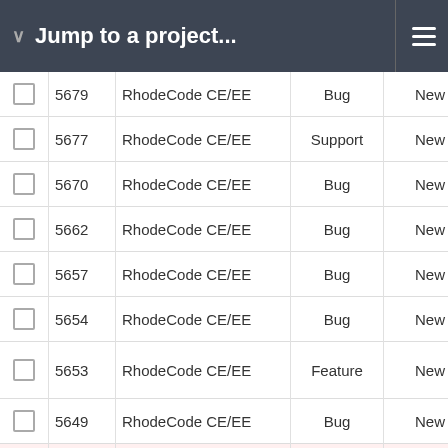Jump to a project...
|  | # | Project | Type | Status |  |
| --- | --- | --- | --- | --- | --- |
|  | 5679 | RhodeCode CE/EE | Bug | New | No |
|  | 5677 | RhodeCode CE/EE | Support | New | No |
|  | 5670 | RhodeCode CE/EE | Bug | New | No |
|  | 5662 | RhodeCode CE/EE | Bug | New | No |
|  | 5657 | RhodeCode CE/EE | Bug | New | No |
|  | 5654 | RhodeCode CE/EE | Bug | New | No |
|  | 5653 | RhodeCode CE/EE | Feature | New | No |
|  | 5649 | RhodeCode CE/EE | Bug | New | No |
|  | 5645 | RhodeCode CE/EE | Bug | New | H |